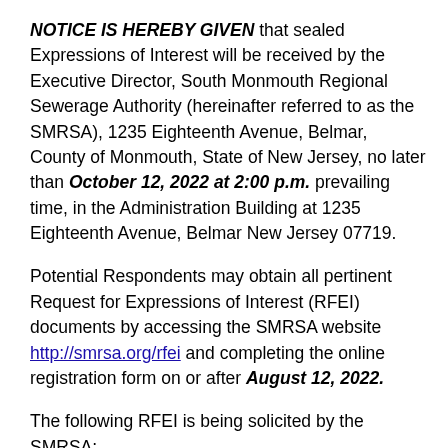NOTICE IS HEREBY GIVEN that sealed Expressions of Interest will be received by the Executive Director, South Monmouth Regional Sewerage Authority (hereinafter referred to as the SMRSA), 1235 Eighteenth Avenue, Belmar, County of Monmouth, State of New Jersey, no later than October 12, 2022 at 2:00 p.m. prevailing time, in the Administration Building at 1235 Eighteenth Avenue, Belmar New Jersey 07719.
Potential Respondents may obtain all pertinent Request for Expressions of Interest (RFEI) documents by accessing the SMRSA website http://smrsa.org/rfei and completing the online registration form on or after August 12, 2022.
The following RFEI is being solicited by the SMRSA: